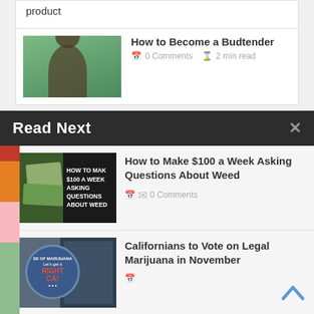product
[Figure (photo): Thumbnail photo of a young woman with long dark hair outdoors among trees]
How to Become a Budtender
0 Comments  2 min read
Read Next
[Figure (photo): Image showing money and cannabis with text overlay: HOW TO MAKE $100 A WEEK ASKING QUESTIONS ABOUT WEED]
How to Make $100 a Week Asking Questions About Weed
0 Comments
[Figure (photo): Photo of people at a Californians for Marijuana legalization event with a circular sign reading RIGHT CA]
Californians to Vote on Legal Marijuana in November